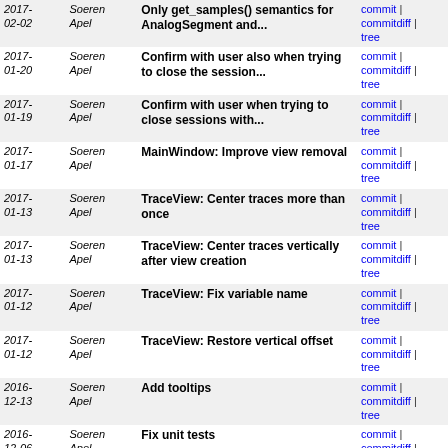| Date | Author | Message | Links |
| --- | --- | --- | --- |
| 2017-02-02 | Soeren Apel | Only get_samples() semantics for AnalogSegment and... | commit | commitdiff | tree |
| 2017-01-20 | Soeren Apel | Confirm with user also when trying to close the session... | commit | commitdiff | tree |
| 2017-01-19 | Soeren Apel | Confirm with user when trying to close sessions with... | commit | commitdiff | tree |
| 2017-01-17 | Soeren Apel | MainWindow: Improve view removal | commit | commitdiff | tree |
| 2017-01-13 | Soeren Apel | TraceView: Center traces more than once | commit | commitdiff | tree |
| 2017-01-13 | Soeren Apel | TraceView: Center traces vertically after view creation | commit | commitdiff | tree |
| 2017-01-12 | Soeren Apel | TraceView: Fix variable name | commit | commitdiff | tree |
| 2017-01-12 | Soeren Apel | TraceView: Restore vertical offset | commit | commitdiff | tree |
| 2016-12-13 | Soeren Apel | Add tooltips | commit | commitdiff | tree |
| 2016-12-06 | Soeren Apel | Fix unit tests | commit | commitdiff | tree |
| 2016-12-04 | Soeren Apel | DecoderStack: Fix "data may be unitialized" error | commit | commitdiff | tree |
| 2016-12-04 | Soeren Apel | MainWindow: Fix "main_window may be uninitialized"... | commit | commitdiff | tree |
| 2016-12-04 | Soeren Apel | MainBar: Correct event handler name | commit | commitdiff | tree |
| 2016- | Soeren | Fix "always zoom to fit" feature | commit | commitdiff | |